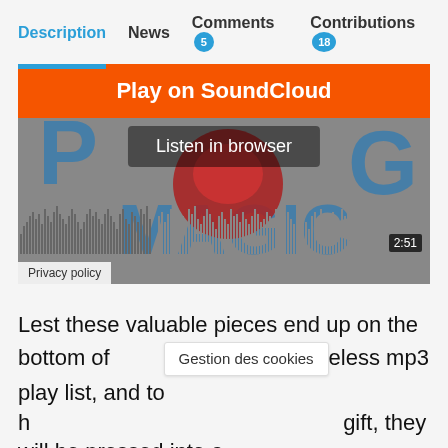Description | News | Comments 5 | Contributions 18
[Figure (screenshot): SoundCloud embedded player with orange 'Play on SoundCloud' button, 'Listen in browser' overlay, waveform visualization, and 2:51 time display. Privacy policy label in lower left.]
Lest these valuable pieces end up on the bottom of a pointless mp3 play list, and to honor them as a gift, they will be pressed into a wonderful 7" vinyl in a snow white cast